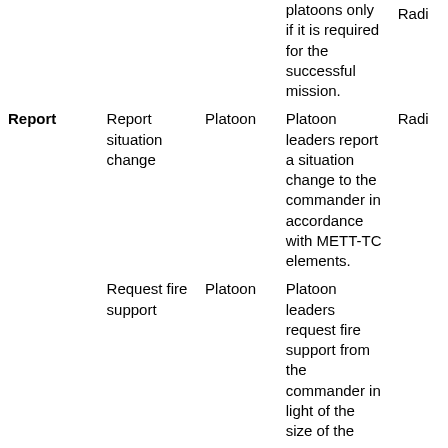|  |  |  |  |  |
| --- | --- | --- | --- | --- |
|  |  |  | platoons only if it is required for the successful mission. | Radi |
| Report | Report situation change | Platoon | Platoon leaders report a situation change to the commander in accordance with METT-TC elements. | Radi |
|  | Request fire support | Platoon | Platoon leaders request fire support from the commander in light of the size of the |  |